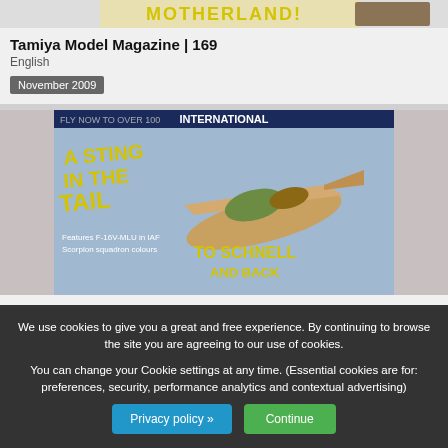[Figure (illustration): Top portion of Tamiya Model Magazine 169 cover showing 'MOTHERLAND!' text and tank tracks]
Tamiya Model Magazine | 169
English
November 2009
[Figure (illustration): Tamiya Model Magazine International 168 cover showing 'A STING IN THE TAIL' with jet aircraft and 'TO SCHNELL' text]
Tamiya Model Magazine | 168
English
October 2009
[Figure (illustration): Tamiya Model Magazine International 167 cover showing 'FUN IN THE SUN' and 'GOOD MORNING VIETNAM!' with military vehicle]
We use cookies to give you a great and free experience. By continuing to browse the site you are agreeing to our use of cookies.
You can change your Cookie settings at any time. (Essential cookies are for: preferences, security, performance analytics and contextual advertising)
Privacy policy »
Continue